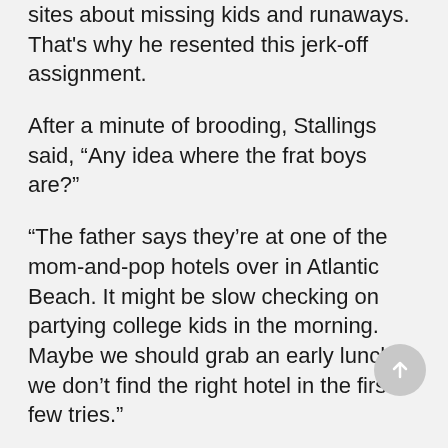sites about missing kids and runaways. That's why he resented this jerk-off assignment.
After a minute of brooding, Stallings said, “Any idea where the frat boys are?”
“The father says they’re at one of the mom-and-pop hotels over in Atlantic Beach. It might be slow checking on partying college kids in the morning. Maybe we should grab an early lunch if we don’t find the right hotel in the first few tries.”
Stallings nodded and sighed.
“You look tired. What’s wrong?”
“Usual.”
“What’s your favorite phrase? Is today the